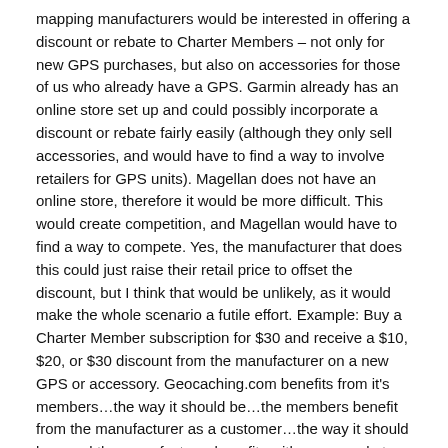mapping manufacturers would be interested in offering a discount or rebate to Charter Members – not only for new GPS purchases, but also on accessories for those of us who already have a GPS. Garmin already has an online store set up and could possibly incorporate a discount or rebate fairly easily (although they only sell accessories, and would have to find a way to involve retailers for GPS units). Magellan does not have an online store, therefore it would be more difficult. This would create competition, and Magellan would have to find a way to compete. Yes, the manufacturer that does this could just raise their retail price to offset the discount, but I think that would be unlikely, as it would make the whole scenario a futile effort. Example: Buy a Charter Member subscription for $30 and receive a $10, $20, or $30 discount from the manufacturer on a new GPS or accessory. Geocaching.com benefits from it's members…the way it should be…the members benefit from the manufacturer as a customer…the way it should be…and the manufacturer benefits with more market share and sales. Everybody wins. As a side note, I am not biased towards either Garmin or Magellan, they both make excellent products, however, Garmin has already expressed geocaching support on their site. It would be nice to see them extend that support as described above. In return, geocaching.com could offer an advertising/sponsor spot to the participating manufacturer at a reasonable price. I thought this through as